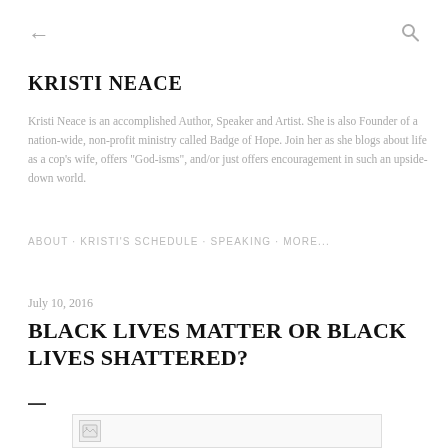← (back) | (search icon)
KRISTI NEACE
Kristi Neace is an accomplished Author, Speaker and Artist. She is also Founder of a nation-wide, non-profit ministry called Badge of Hope. Join her as she blogs about life as a cop's wife, offers "God-isms", and/or just offers encouragement in such an upside-down world.
ABOUT · KRISTI'S SCHEDULE · SPEAKING · MORE...
July 10, 2016
BLACK LIVES MATTER OR BLACK LIVES SHATTERED?
—
[Figure (photo): Broken/loading image placeholder at the bottom of the post]